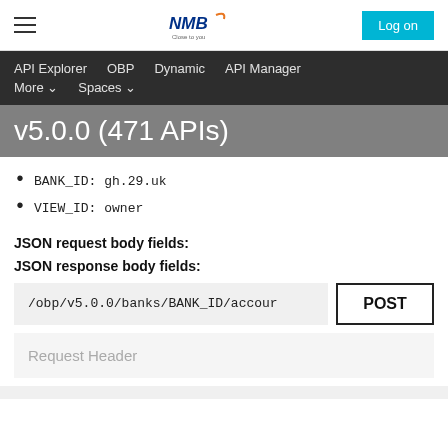NMB - Close to you | Log on
API Explorer   OBP   Dynamic   API Manager   More   Spaces
v5.0.0 (471 APIs)
BANK_ID: gh.29.uk
VIEW_ID: owner
JSON request body fields:
JSON response body fields:
/obp/v5.0.0/banks/BANK_ID/accour   POST
Request Header